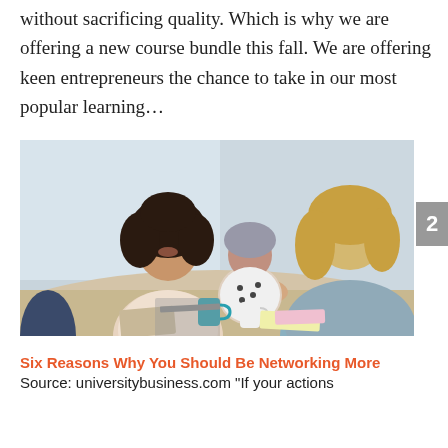without sacrificing quality. Which is why we are offering a new course bundle this fall. We are offering keen entrepreneurs the chance to take in our most popular learning...
[Figure (photo): Three women at a business meeting table; two are shaking hands and smiling while a third woman watches, with laptops and coffee cups on the table.]
Six Reasons Why You Should Be Networking More
Source: universitybusiness.com "If your actions